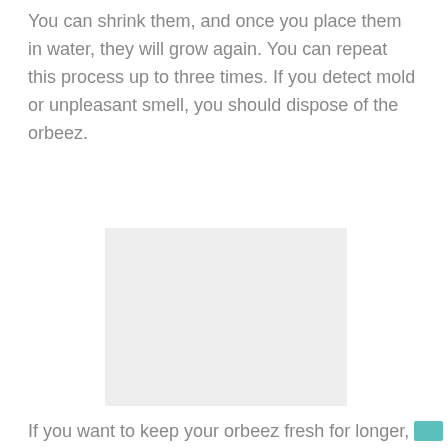You can shrink them, and once you place them in water, they will grow again. You can repeat this process up to three times. If you detect mold or unpleasant smell, you should dispose of the orbeez.
[Figure (photo): A light gray rectangular placeholder image]
If you want to keep your orbeez fresh for longer, you